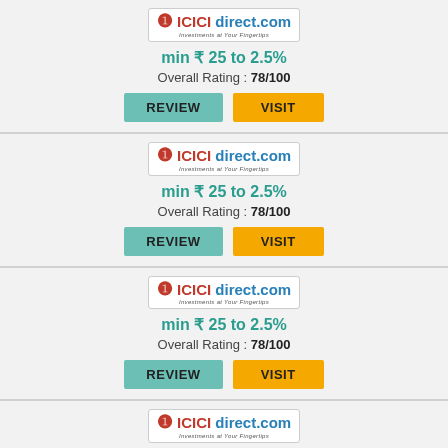[Figure (logo): ICICI direct.com logo - Investments at Your Fingertips]
min ₹ 25 to 2.5%
Overall Rating : 78/100
[Figure (logo): ICICI direct.com logo - Investments at Your Fingertips]
min ₹ 25 to 2.5%
Overall Rating : 78/100
[Figure (logo): ICICI direct.com logo - Investments at Your Fingertips]
min ₹ 25 to 2.5%
Overall Rating : 78/100
[Figure (logo): ICICI direct.com logo - Investments at Your Fingertips]